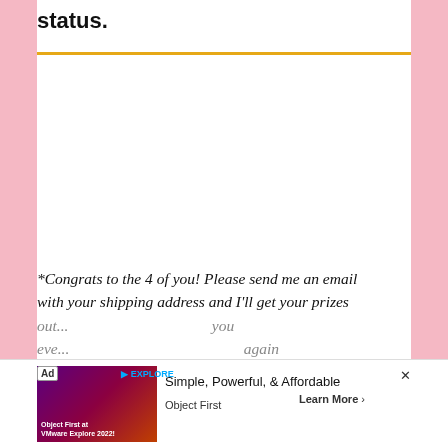status.
*Congrats to the 4 of you! Please send me an email with your shipping address and I'll get your prizes out...you eve...again